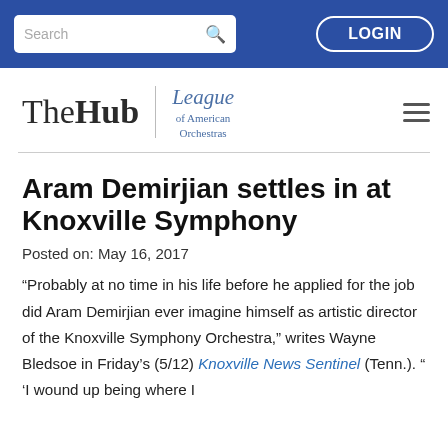Search | LOGIN
[Figure (logo): The Hub | League of American Orchestras logo with hamburger menu]
Aram Demirjian settles in at Knoxville Symphony
Posted on: May 16, 2017
“Probably at no time in his life before he applied for the job did Aram Demirjian ever imagine himself as artistic director of the Knoxville Symphony Orchestra,” writes Wayne Bledsoe in Friday’s (5/12) Knoxville News Sentinel (Tenn.). “ ‘I wound up being where I